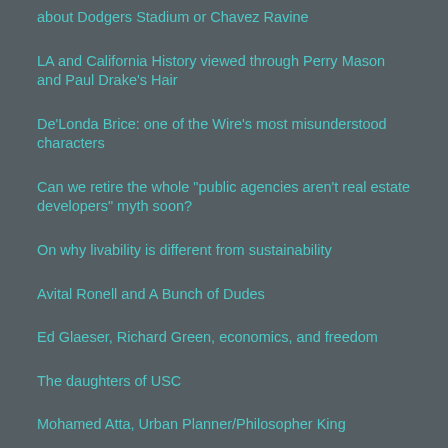about Dodgers Stadium or Chavez Ravine
LA and California History viewed through Perry Mason and Paul Drake's Hair
De'Londa Brice: one of the Wire's most misunderstood characters
Can we retire the whole "public agencies aren't real estate developers" myth soon?
On why livability is different from sustainability
Avital Ronell and A Bunch of Dudes
Ed Glaeser, Richard Green, economics, and freedom
The daughters of USC
Mohamed Atta, Urban Planner/Philosopher King